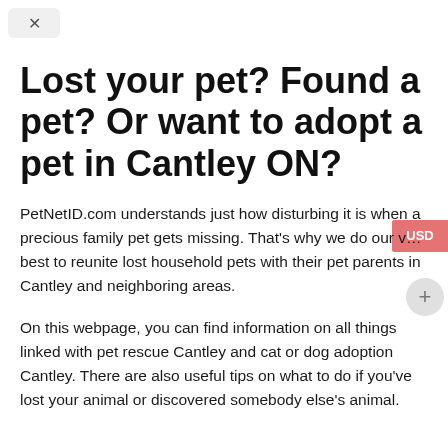Lost your pet? Found a pet? Or want to adopt a pet in Cantley ON?
PetNetID.com understands just how disturbing it is when a precious family pet gets missing. That's why we do our very best to reunite lost household pets with their pet parents in Cantley and neighboring areas.
On this webpage, you can find information on all things linked with pet rescue Cantley and cat or dog adoption Cantley. There are also useful tips on what to do if you've lost your animal or discovered somebody else's animal.